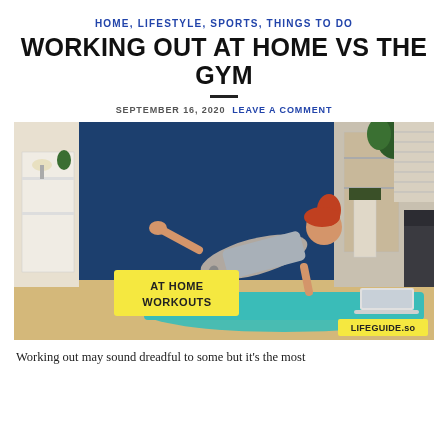HOME, LIFESTYLE, SPORTS, THINGS TO DO
WORKING OUT AT HOME VS THE GYM
SEPTEMBER 16, 2020  LEAVE A COMMENT
[Figure (photo): Woman with red hair in a bun doing a plank exercise variation on a teal yoga mat in a home setting, watching a laptop. A yellow label overlay reads 'AT HOME WORKOUTS'. A watermark in the bottom right reads 'LIFEGUIDE.so'.]
Working out may sound dreadful to some but it's the most